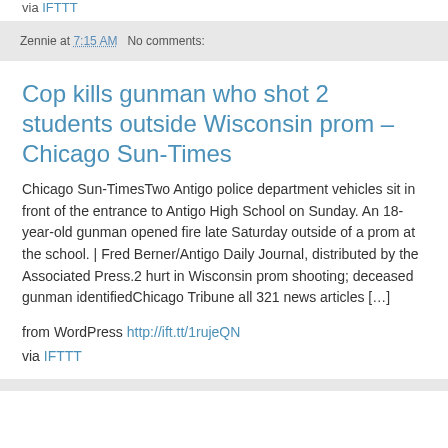via IFTTT
Zennie at 7:15 AM   No comments:
Cop kills gunman who shot 2 students outside Wisconsin prom – Chicago Sun-Times
Chicago Sun-TimesTwo Antigo police department vehicles sit in front of the entrance to Antigo High School on Sunday. An 18-year-old gunman opened fire late Saturday outside of a prom at the school. | Fred Berner/Antigo Daily Journal, distributed by the Associated Press.2 hurt in Wisconsin prom shooting; deceased gunman identifiedChicago Tribune all 321 news articles [...]
from WordPress http://ift.tt/1rujeQN
via IFTTT